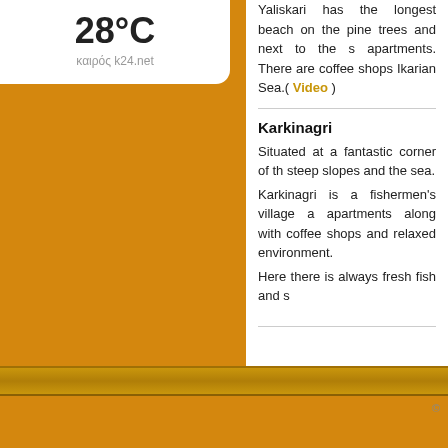28°C
καιρός k24.net
Yaliskari has the longest beach on the pine trees and next to the s apartments. There are coffee shops Ikarian Sea.( Video )
Karkinagri
Situated at a fantastic corner of th steep slopes and the sea.
Karkinagri is a fishermen's village a apartments along with coffee shops and relaxed environment.
Here there is always fresh fish and s
©